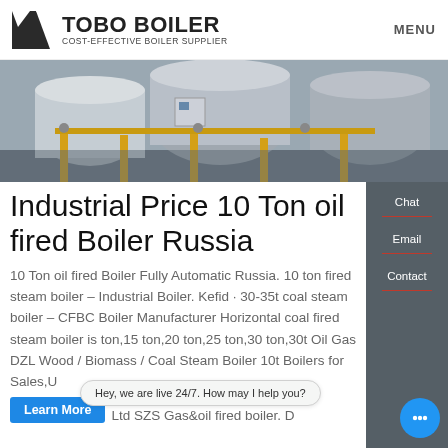TOBO BOILER COST-EFFECTIVE BOILER SUPPLIER | MENU
[Figure (photo): Industrial boiler facility interior showing large cylindrical boilers, yellow piping, and industrial equipment in a warehouse setting]
Industrial Price 10 Ton oil fired Boiler Russia
10 Ton oil fired Boiler Fully Automatic Russia. 10 ton fired steam boiler – Industrial Boiler. Kefid · 30-35t coal steam boiler – CFBC Boiler Manufacturer Horizontal coal fired steam boiler is ton,15 ton,20 ton,25 ton,30 ton,30t Oil Gas DZL Wood / Biomass / Coal Steam Boiler 10t Boilers for Sales,U Ltd SZS Gas&oil fired boiler. D
Hey, we are live 24/7. How may I help you?